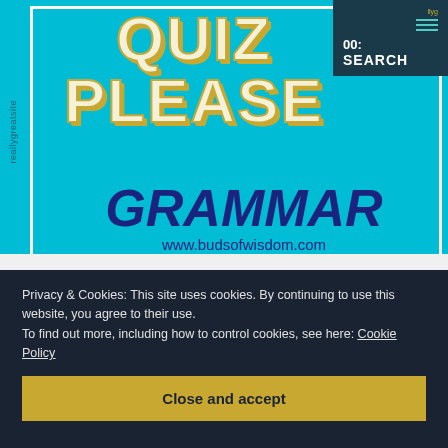[Figure (illustration): Website screenshot showing a grammar quiz cover with teal background. Large bold text reads 'QUIZ PLEASE' in cream/white with gold shadow. Below that 'GRAMMAR' in dark blue italic bold text and website URL www.budsofwisdom.com. Navigation bar in dark teal at top right showing hamburger menu, '00:' timer and 'SEARCH'. Rotated sidebar text reads 'reallygreatsite'.]
Privacy & Cookies: This site uses cookies. By continuing to use this website, you agree to their use.
To find out more, including how to control cookies, see here: Cookie Policy
Close and accept